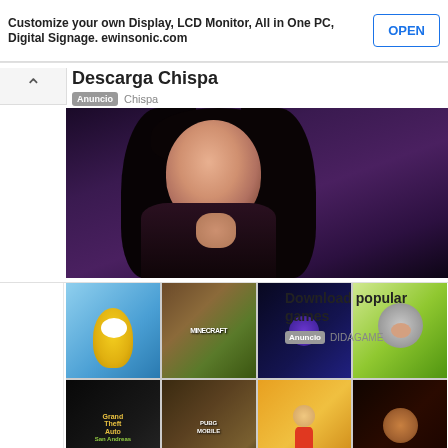[Figure (screenshot): Top advertisement banner with partial title text, subtitle about ewinsonic.com, and OPEN button]
Customize your own Display, LCD Monitor, All in One PC, Digital Signage. ewinsonic.com
[Figure (screenshot): Advertisement for Descarga Chispa app with photo of a woman]
Descarga Chispa
Anuncio  Chispa
[Figure (screenshot): Advertisement for Download popular games showing grid of 8 game thumbnails including Minecraft, GTA, PUBG, Subway Surfers, FNAF]
Download popular games
Anuncio  DIDAGAME